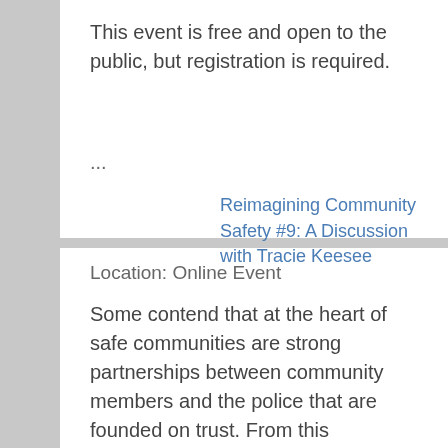This event is free and open to the public, but registration is required.
...
Reimagining Community Safety #9: A Discussion with Tracie Keesee
Location: Online Event
Some contend that at the heart of safe communities are strong partnerships between community members and the police that are founded on trust. From this partnership, community safety is